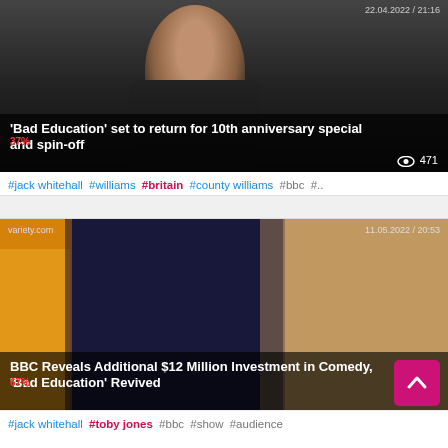[Figure (photo): News card: man with beard on dark background, article about 'Bad Education' 10th anniversary special and spin-off. Source overlay top right, tags below.]
'Bad Education' set to return for 10th anniversary special and spin-off
37% | 471 views
#jack whitehall #williams #britain #county williams #bbc #..
[Figure (photo): News card: group of people in school uniforms in classroom, article about BBC investing $12 million in comedy 'Bad Education' revived. Source variety.com, date 11.05.2022 / 20:53.]
BBC Reveals Additional $12 Million Investment in Comedy, 'Bad Education' Revived
67% | 7 views
#jack whitehall #toby jones #bbc #show #audience